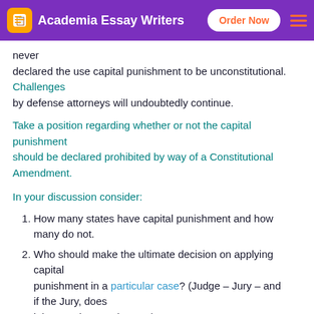Academia Essay Writers | Order Now
never
declared the use capital punishment to be unconstitutional. Challenges
by defense attorneys will undoubtedly continue.
Take a position regarding whether or not the capital punishment
should be declared prohibited by way of a Constitutional Amendment.
In your discussion consider:
How many states have capital punishment and how many do not.
Who should make the ultimate decision on applying capital punishment in a particular case? (Judge – Jury – and if the Jury, does it have to be unanimous?)